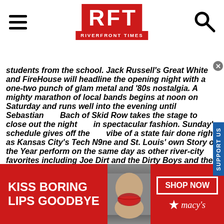RFT RIVERFRONT TIMES
students from the school. Jack Russell's Great White and FireHouse will headline the opening night with a one-two punch of glam metal and '80s nostalgia. A mighty marathon of local bands begins at noon on Saturday and runs well into the evening until Sebastian Bach of Skid Row takes the stage to close out the night in spectacular fashion. Sunday's schedule gives off the vibe of a state fair done right as Kansas City's Tech N9ne and St. Louis' own Story of the Year perform on the same day as other river-city favorites including Joe Dirt and the Dirty Boys and the Midwest Avengers. It's a massive musical buffet on display with a little
[Figure (photo): Advertisement banner for Macy's: 'KISS BORING LIPS GOODBYE' with a photo of a woman with red lips and a SHOP NOW button with the Macy's star logo]